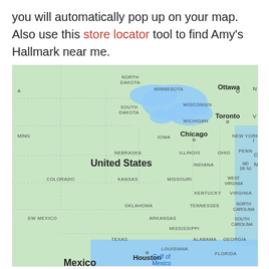you will automatically pop up on your map. Also use this store locator tool to find Amy's Hallmark near me.
[Figure (map): Google Maps screenshot showing the eastern United States with state labels including North Dakota, Minnesota, Wisconsin, Michigan, Iowa, Illinois, Indiana, Ohio, Nebraska, Colorado, Kansas, Missouri, Kentucky, Tennessee, Arkansas, Mississippi, Alabama, Georgia, Oklahoma, Texas, Louisiana, West Virginia, Virginia, North Carolina, South Carolina, Florida, Penn, South Dakota, and partial states. Cities labeled: Chicago, Toronto, Ottawa, Houston. Bodies of water: Great Lakes (blue), Gulf of Mexico. Also shows parts of Mexico.]